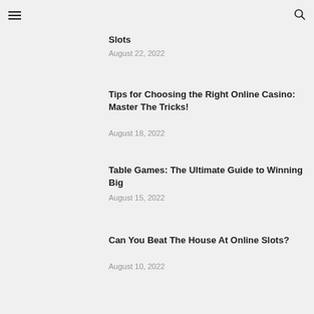≡  🔍
Slots
August 22, 2022
Tips for Choosing the Right Online Casino: Master The Tricks!
August 18, 2022
Table Games: The Ultimate Guide to Winning Big
August 15, 2022
Can You Beat The House At Online Slots?
August 10, 2022